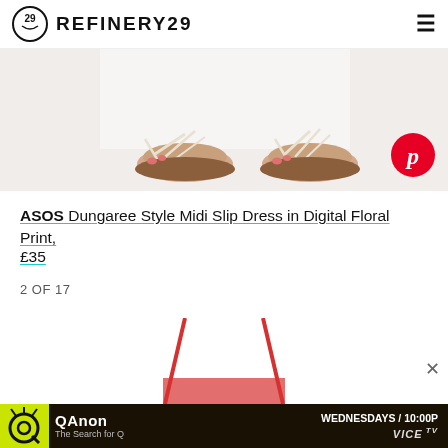REFINERY29
[Figure (photo): Photo of sandals on a model wearing a white dress, with Pinterest button overlay]
ASOS Dungaree Style Midi Slip Dress in Digital Floral Print, £35
2 OF 17
[Figure (photo): Partial photo of a red spaghetti strap garment]
[Figure (photo): QAnon: The Search for Q advertisement banner — WEDNESDAYS / 10:00P, VICE TV]